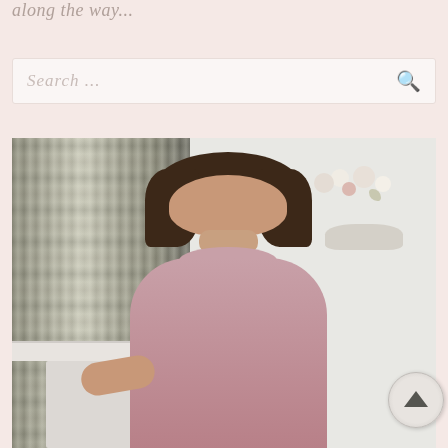along the way...
Search ...
[Figure (photo): A smiling woman with long brown hair wearing a dusty pink blouse, seated in an elegantly decorated room with floral curtains and a fireplace mantle. A flower arrangement is visible in the background.]